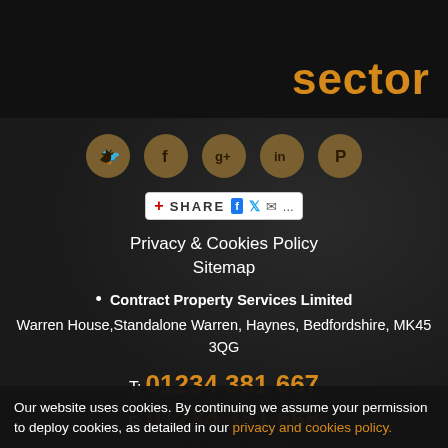sector
[Figure (infographic): Row of 5 social media icon circles: Twitter, Facebook, Google+, LinkedIn, Pinterest]
[Figure (screenshot): Share button bar with plus icon, SHARE label, Facebook, Twitter, email, and more icons]
Privacy & Cookies Policy
Sitemap
Contract Property Services Limited
Warren House,Standalone Warren, Haynes, Bedfordshire, MK45 3QG
T: 01234 381 667
F: 01234 381 668
Our website uses cookies. By continuing we assume your permission to deploy cookies, as detailed in our privacy and cookies policy.